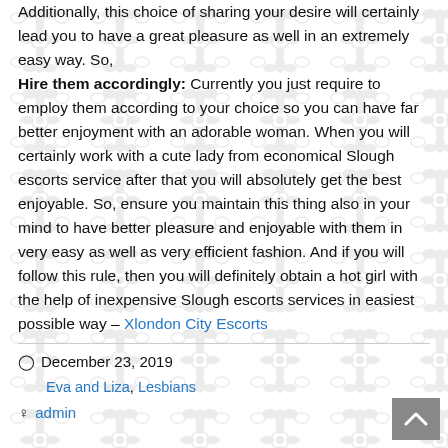Additionally, this choice of sharing your desire will certainly lead you to have a great pleasure as well in an extremely easy way. So,
Hire them accordingly: Currently you just require to employ them according to your choice so you can have far better enjoyment with an adorable woman. When you will certainly work with a cute lady from economical Slough escorts service after that you will absolutely get the best enjoyable. So, ensure you maintain this thing also in your mind to have better pleasure and enjoyable with them in very easy as well as very efficient fashion. And if you will follow this rule, then you will definitely obtain a hot girl with the help of inexpensive Slough escorts services in easiest possible way – Xlondon City Escorts
December 23, 2019
Eva and Liza, Lesbians
admin